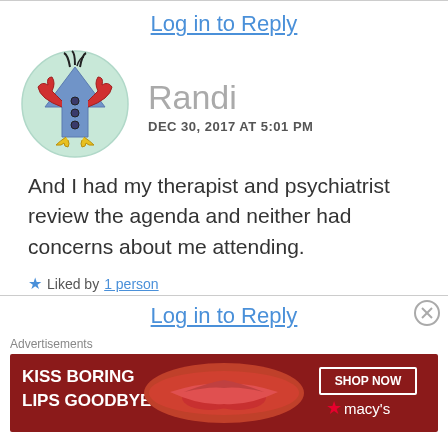Log in to Reply
[Figure (illustration): Cartoon avatar of a blue arrow-shaped bird character with red crab claws, yellow feet, and dark feathers on top, inside a light teal circle]
Randi
DEC 30, 2017 AT 5:01 PM
And I had my therapist and psychiatrist review the agenda and neither had concerns about me attending.
★ Liked by 1 person
Log in to Reply
Advertisements
[Figure (photo): Advertisement banner: red background with white bold text 'KISS BORING LIPS GOODBYE', a photo of lips in the center, and a 'SHOP NOW' button with Macy's star logo on the right]